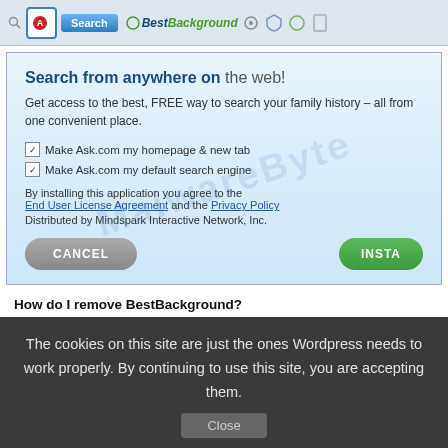[Figure (screenshot): Browser toolbar with Ask.com search box, BestBackground logo, and toolbar icons]
Search from anywhere on the web!
Get access to the best, FREE way to search your family history – all from one convenient place.
Make Ask.com my homepage & new tab
Make Ask.com my default search engine
By installing this application you agree to the End User License Agreement and the Privacy Policy
Distributed by Mindspark Interactive Network, Inc.
How do I remove BestBackground?
Visit our forums for detailed instructions. You can also get help there should you
The cookies on this site are just the ones Wordpress needs to work properly. By continuing to use this site, you are accepting them.